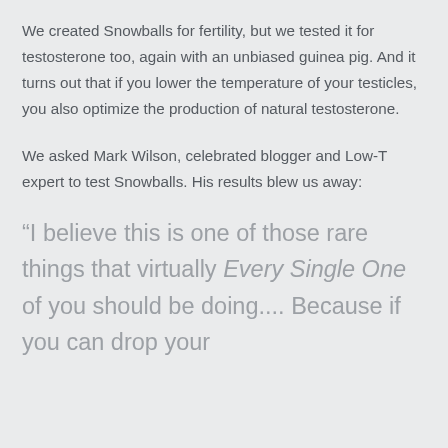We created Snowballs for fertility, but we tested it for testosterone too, again with an unbiased guinea pig. And it turns out that if you lower the temperature of your testicles, you also optimize the production of natural testosterone.
We asked Mark Wilson, celebrated blogger and Low-T expert to test Snowballs. His results blew us away:
“I believe this is one of those rare things that virtually Every Single One of you should be doing.... Because if you can drop your